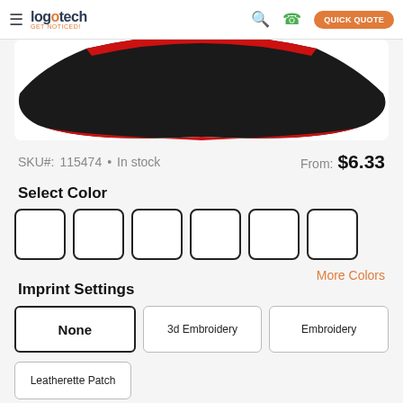Logotech GET NOTICED! | Search | Phone | QUICK QUOTE
[Figure (photo): Black and red baseball cap product image, viewed from above showing brim with red accent trim]
SKU#: 115474 • In stock   From: $6.33
Select Color
[Figure (other): Six empty white color swatch boxes with dark borders in a horizontal row]
More Colors
Imprint Settings
None | 3d Embroidery | Embroidery
Leatherette Patch